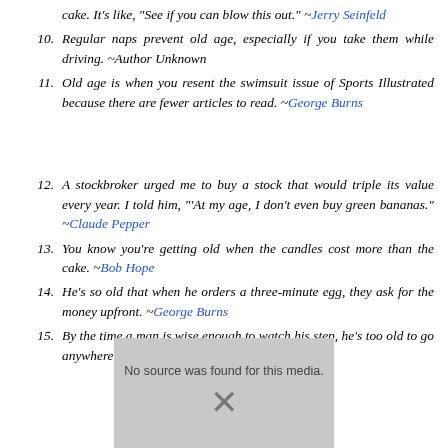cake. It's like, "See if you can blow this out." ~Jerry Seinfeld
10. Regular naps prevent old age, especially if you take them while driving. ~Author Unknown
11. Old age is when you resent the swimsuit issue of Sports Illustrated because there are fewer articles to read. ~George Burns
12. A stockbroker urged me to buy a stock that would triple its value every year. I told him, "'At my age, I don't even buy green bananas." ~Claude Pepper
13. You know you're getting old when the candles cost more than the cake. ~Bob Hope
14. He's so old that when he orders a three-minute egg, they ask for the money upfront. ~George Burns
15. By the time a man is wise enough to watch his step, he's too old to go anywhere. ~Billy Crystal
[Figure (other): Broken/unavailable image placeholder with text 'No source was found for this media.' and an X mark]